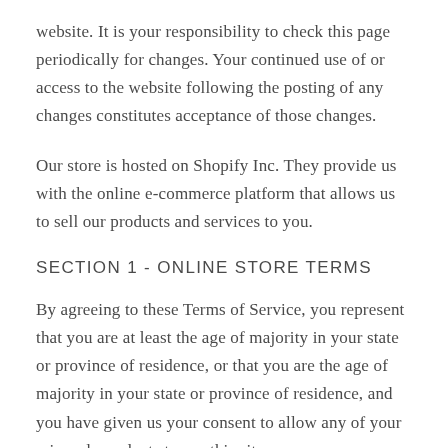website. It is your responsibility to check this page periodically for changes. Your continued use of or access to the website following the posting of any changes constitutes acceptance of those changes.
Our store is hosted on Shopify Inc. They provide us with the online e-commerce platform that allows us to sell our products and services to you.
SECTION 1 - ONLINE STORE TERMS
By agreeing to these Terms of Service, you represent that you are at least the age of majority in your state or province of residence, or that you are the age of majority in your state or province of residence, and you have given us your consent to allow any of your minor dependents to use this site.